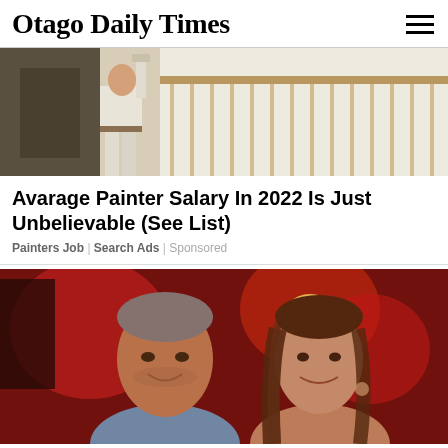Otago Daily Times
[Figure (photo): Painter working on wall, wearing white work clothes, painting near a railing or staircase]
Avarage Painter Salary In 2022 Is Just Unbelievable (See List)
Painters Job | Search Ads | Sponsored
[Figure (photo): A man and woman smiling together in front of a red-lit background, appears to be at a social/party event]